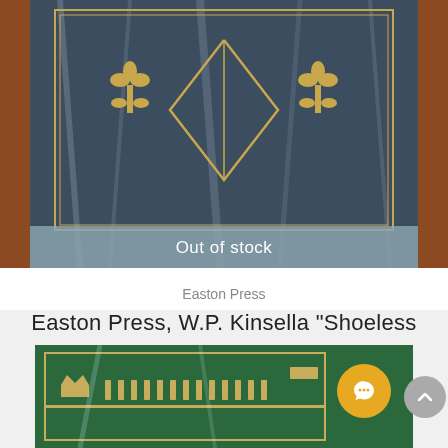[Figure (photo): Dark navy blue Easton Press book cover with gold decorative elements — two fleur-de-lis ornaments and a diamond/V-shaped geometric design — wrapped in clear plastic shrink wrap. Visible wooden surface on either side.]
Out of stock
Easton Press
Easton Press, W.P. Kinsella "Shoeless Joe" Signed Limited Edition (Very Fine)
$250
[Figure (photo): Green Easton Press book cover with gold decorative border design featuring a crown and repeating ornamental motifs, wrapped in clear plastic. Partially cropped.]